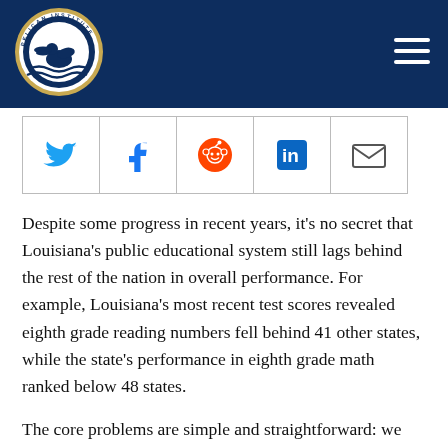Pelican Institute for Public Policy
[Figure (other): Social media sharing icons row: Twitter, Facebook, Reddit, LinkedIn, Email]
Despite some progress in recent years, it’s no secret that Louisiana’s public educational system still lags behind the rest of the nation in overall performance. For example, Louisiana’s most recent test scores revealed eighth grade reading numbers fell behind 41 other states, while the state’s performance in eighth grade math ranked below 48 states.
The core problems are simple and straightforward: we are failing to provide adequate options for our students, particularly those in rural and suburban areas, to succeed and, in turn, we aren’t equipping our